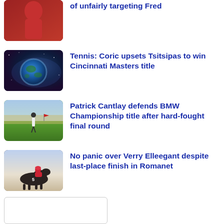[Figure (photo): Cricket player in red uniform, partial view at top]
of unfairly targeting Fred
[Figure (photo): Earth globe in space with blue galactic background]
Tennis: Coric upsets Tsitsipas to win Cincinnati Masters title
[Figure (photo): Golfer on green fairway with crowd in background]
Patrick Cantlay defends BMW Championship title after hard-fought final round
[Figure (photo): Jockey in red and blue silks riding a horse in a race]
No panic over Verry Elleegant despite last-place finish in Romanet
[Figure (photo): Partial image placeholder at bottom of page]